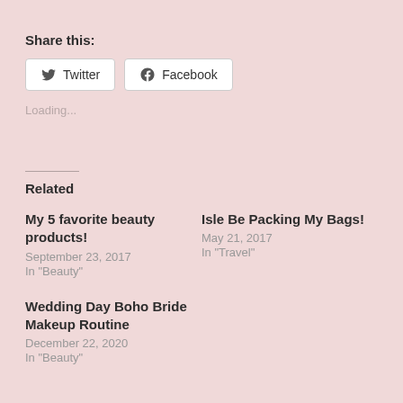Share this:
Twitter  Facebook
Loading...
Related
My 5 favorite beauty products!
September 23, 2017
In "Beauty"
Isle Be Packing My Bags!
May 21, 2017
In "Travel"
Wedding Day Boho Bride Makeup Routine
December 22, 2020
In "Beauty"